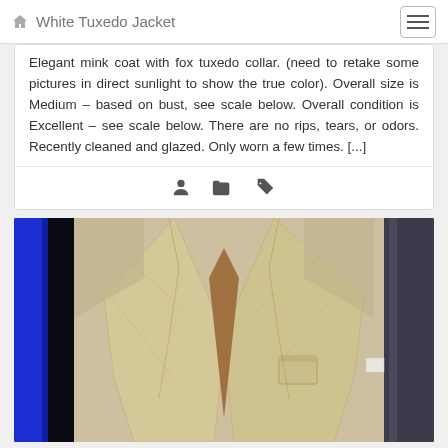White Tuxedo Jacket
Elegant mink coat with fox tuxedo collar. (need to retake some pictures in direct sunlight to show the true color). Overall size is Medium – based on bust, see scale below. Overall condition is Excellent – see scale below. There are no rips, tears, or odors. Recently cleaned and glazed. Only worn a few times. [...]
[Figure (photo): Photo of a white/cream tuxedo jacket hanging, showing lapels and breast pocket, with blue background visible on left edge]